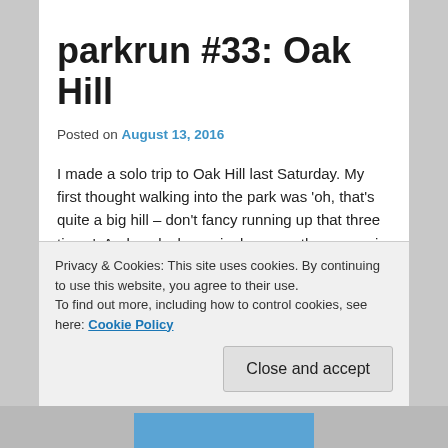parkrun #33: Oak Hill
Posted on August 13, 2016
I made a solo trip to Oak Hill last Saturday. My first thought walking into the park was ‘oh, that’s quite a big hill – don’t fancy running up that three times’. And my luck was in, because the course is run in front of (and not up) what I presume must be Oak Hill.
Oak Hill has a simple, nearly-three-lap course, and is entirely on tarmac. It follows Pymmes Brook (which, for those wondering, is an anagram of Pymmes Brook) along the...
Privacy & Cookies: This site uses cookies. By continuing to use this website, you agree to their use.
To find out more, including how to control cookies, see here: Cookie Policy
Close and accept